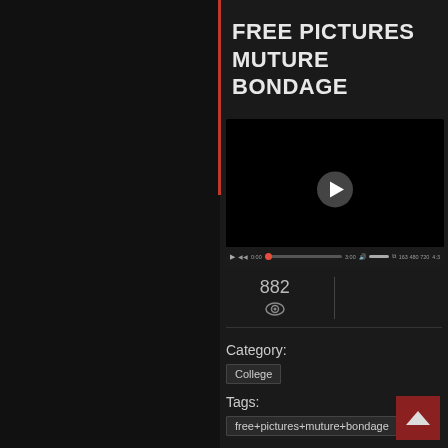FREE PICTURES MUTURE BONDAGE
[Figure (screenshot): Video player with black screen, play button in center, and video controls bar at bottom showing playback controls, progress bar, time (0:00 / 3:00), volume, and resolution info (163 480 720)]
882
Category:
College
Tags:
free+pictures+muture+bondage